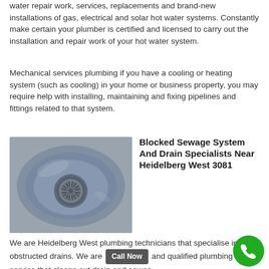water repair work, services, replacements and brand-new installations of gas, electrical and solar hot water systems. Constantly make certain your plumber is certified and licensed to carry out the installation and repair work of your hot water system.
Mechanical services plumbing if you have a cooling or heating system (such as cooling) in your home or business property, you may require help with installing, maintaining and fixing pipelines and fittings related to that system.
[Figure (photo): Close-up photo of a stainless steel sink drain with a circular strainer]
Blocked Sewage System And Drain Specialists Near Heidelberg West 3081
We are Heidelberg West plumbing technicians that specialise in obstructed drains. We are [Call Now] and qualified plumbing service that cleans out drain and sewer